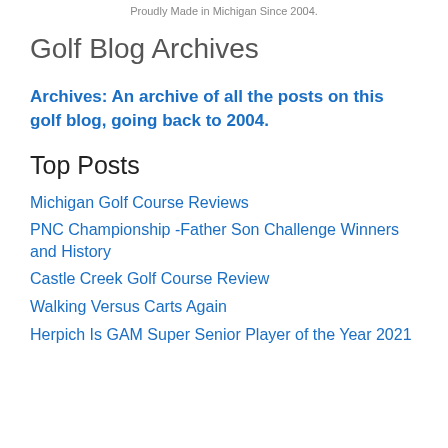Proudly Made in Michigan Since 2004.
Golf Blog Archives
Archives: An archive of all the posts on this golf blog, going back to 2004.
Top Posts
Michigan Golf Course Reviews
PNC Championship -Father Son Challenge Winners and History
Castle Creek Golf Course Review
Walking Versus Carts Again
Herpich Is GAM Super Senior Player of the Year 2021